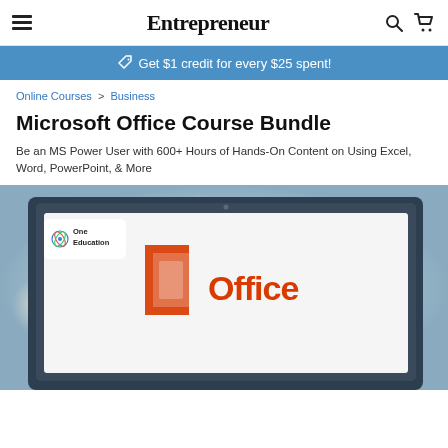Entrepreneur
Get $1 credit for every $25 spent!
Online Courses > Business
Microsoft Office Course Bundle
Be an MS Power User with 600+ Hours of Hands-On Content on Using Excel, Word, PowerPoint, & More
[Figure (photo): Laptop screen displaying Microsoft Office logo with 'One Education' badge in top-left corner. Bokeh background with warm lighting.]